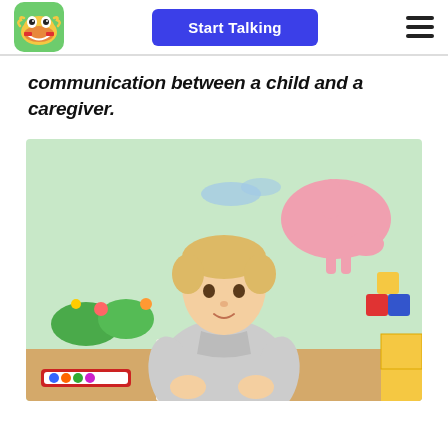Start Talking
communication between a child and a caregiver.
[Figure (photo): A young blond boy in a grey hoodie sits at a table reading a book in a colorful classroom with animal wall murals and toys in the background.]